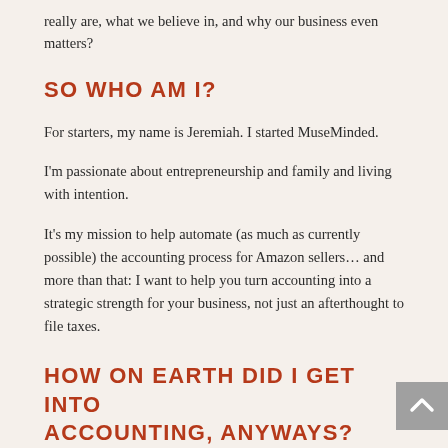really are, what we believe in, and why our business even matters?
SO WHO AM I?
For starters, my name is Jeremiah. I started MuseMinded.
I'm passionate about entrepreneurship and family and living with intention.
It's my mission to help automate (as much as currently possible) the accounting process for Amazon sellers… and more than that: I want to help you turn accounting into a strategic strength for your business, not just an afterthought to file taxes.
HOW ON EARTH DID I GET INTO ACCOUNTING, ANYWAYS?